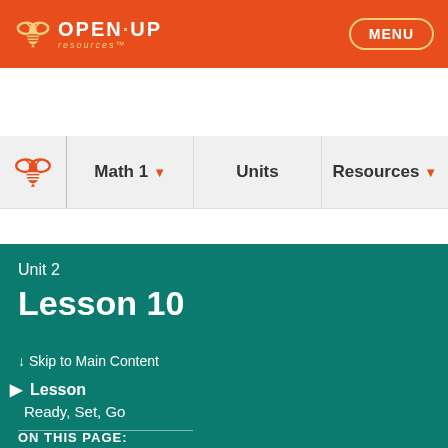OPEN·UP resources™  MENU
Math 1 ▾   Units   Resources ▾
Lessons ▾
Self Assessments
Unit 2
Lesson 10
↓ Skip to Main Content
▶ Lesson
Ready, Set, Go
ON THIS PAGE: